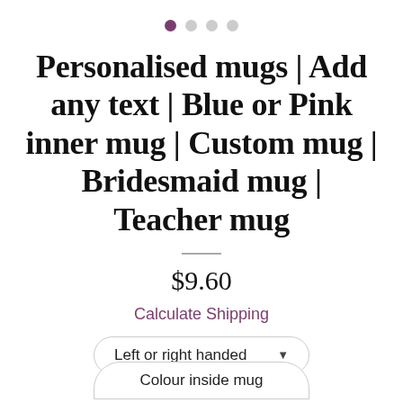[Figure (other): Carousel navigation dots: one filled purple dot followed by three empty grey dots]
Personalised mugs | Add any text | Blue or Pink inner mug | Custom mug | Bridesmaid mug | Teacher mug
$9.60
Calculate Shipping
Left or right handed ▾
Colour inside mug